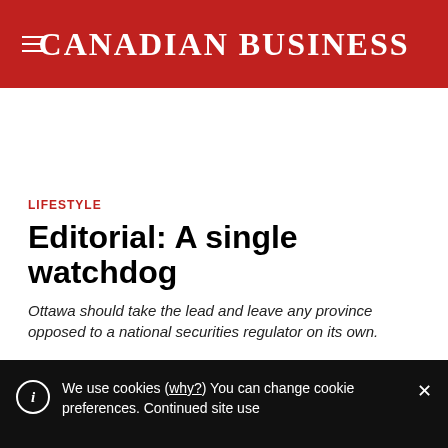CANADIAN BUSINESS
LIFESTYLE
Editorial: A single watchdog
Ottawa should take the lead and leave any province opposed to a national securities regulator on its own.
By CB Staff
January 27, 2009
We use cookies (why?) You can change cookie preferences. Continued site use